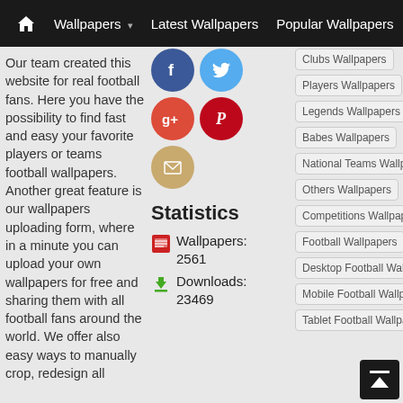🏠  Wallpapers ▾  Latest Wallpapers  Popular Wallpapers  Rando
Our team created this website for real football fans. Here you have the possibility to find fast and easy your favorite players or teams football wallpapers. Another great feature is our wallpapers uploading form, where in a minute you can upload your own wallpapers for free and sharing them with all football fans around the world. We offer also easy ways to manually crop, redesign all
[Figure (infographic): Social media share icons: Facebook (blue circle), Twitter (light blue circle), Google+ (red circle), Pinterest (red circle), Email (gold circle)]
Statistics
[Figure (infographic): Red wallpaper icon with text: Wallpapers: 2561]
[Figure (infographic): Green download arrow icon with text: Downloads: 23469]
Clubs Wallpapers
Players Wallpapers
Legends Wallpapers
Babes Wallpapers
National Teams Wallpapers
Others Wallpapers
Competitions Wallpapers
Football Wallpapers
Desktop Football Wallpapers
Mobile Football Wallpapers
Tablet Football Wallpapers